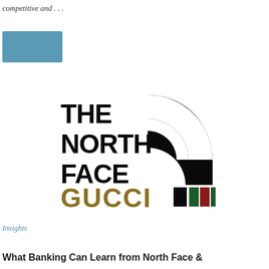competitive and …
[Figure (logo): Blue rectangle placeholder/thumbnail block]
[Figure (logo): Combined The North Face and Gucci collaboration logo. The North Face logo text in black with quarter-circle arc mark, and GUCCI text in gold/olive with green, red, green color blocks to the right.]
Insights
What Banking Can Learn from North Face &